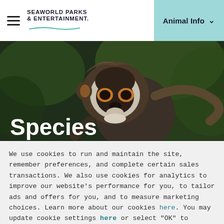SeaWorld Parks & Entertainment — Animal Info navigation
[Figure (photo): Close-up photo of a spider monkey with dark face and orange-ringed eyes against a blurred green background, with 'Species' text overlay]
Species
We use cookies to run and maintain the site, remember preferences, and complete certain sales transactions. We also use cookies for analytics to improve our website's performance for you, to tailor ads and offers for you, and to measure marketing choices. Learn more about our cookies here. You may update cookie settings here or select "OK" to continue with default settings.
OK >